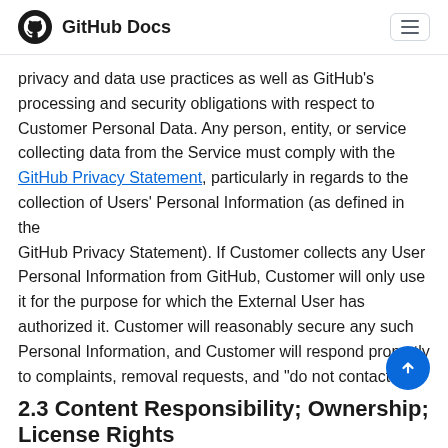GitHub Docs
privacy and data use practices as well as GitHub's processing and security obligations with respect to Customer Personal Data. Any person, entity, or service collecting data from the Service must comply with the GitHub Privacy Statement, particularly in regards to the collection of Users' Personal Information (as defined in the GitHub Privacy Statement). If Customer collects any User Personal Information from GitHub, Customer will only use it for the purpose for which the External User has authorized it. Customer will reasonably secure any such Personal Information, and Customer will respond promptly to complaints, removal requests, and "do not contact" requests from GitHub or External Users.
2.3 Content Responsibility; Ownership; License Rights